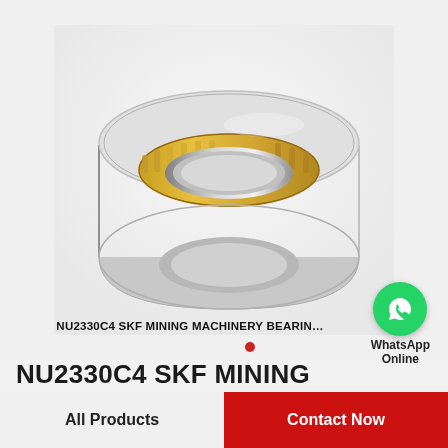[Figure (photo): A cylindrical roller bearing (NU2330C4 SKF) shown at an angle, silver metallic outer ring with brass/gold inner cage visible, product photo on light gray background]
[Figure (logo): WhatsApp green circle icon with white phone handset, labeled 'WhatsApp Online']
NU2330C4 SKF MINING MACHINERY BEARIN...
NU2330C4 SKF MINING MACHINERY BEARINGS
All Products
Contact Now